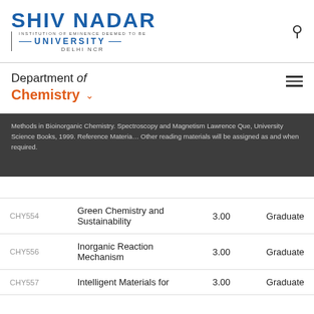[Figure (logo): Shiv Nadar Institution of Eminence Deemed to be University Delhi NCR logo]
Department of Chemistry
Methods in Bioinorganic Chemistry. Spectroscopy and Magnetism Lawrence Que, University Science Books, 1999. Reference Material: Other reading materials will be assigned as and when required.
| Code | Course Name | Credits | Level |
| --- | --- | --- | --- |
| CHY554 | Green Chemistry and Sustainability | 3.00 | Graduate |
| CHY556 | Inorganic Reaction Mechanism | 3.00 | Graduate |
| CHY557 | Intelligent Materials for | 3.00 | Graduate |